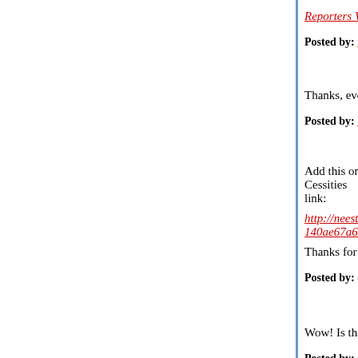Reporters Without Borders press release.
Posted by: matttbastard | January 08, 2008 at 02:07 PM
Thanks, everyone. Further links are always appre... all your help has made it a lot easier not to miss t...
Posted by: hilzoy | January 09, 2008 at 03:33 AM
Add this one,please! I don't know how to make it a... Cessities
link:
http://neestake.townhall.com/g/2ae9c4cb-480a-49... 140ae67a6c4e&comments=true#comments
Thanks for all your efforts,Hilzoy. This is why you...
Posted by: defendusa | January 09, 2008 at 08:39 AM
Wow! Is that an impressive list or what?
Posted by: OCSteve | January 09, 2008 at 09:27 AM